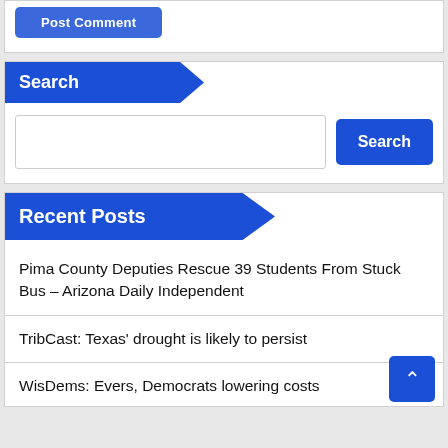[Figure (screenshot): Post Comment button (blue rounded rectangle, partially cropped at top)]
Search
[Figure (screenshot): Search input field and Search button]
Recent Posts
Pima County Deputies Rescue 39 Students From Stuck Bus – Arizona Daily Independent
TribCast: Texas' drought is likely to persist
WisDems: Evers, Democrats lowering costs